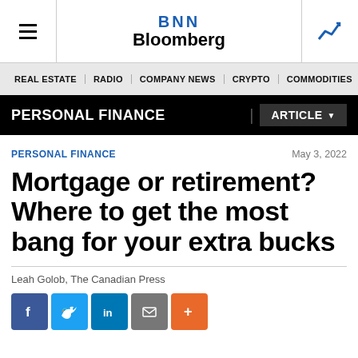BNN Bloomberg
REAL ESTATE | RADIO | COMPANY NEWS | CRYPTO | COMMODITIES | CANN
PERSONAL FINANCE | ARTICLE
PERSONAL FINANCE
May 3, 2022
Mortgage or retirement? Where to get the most bang for your extra bucks
Leah Golob, The Canadian Press